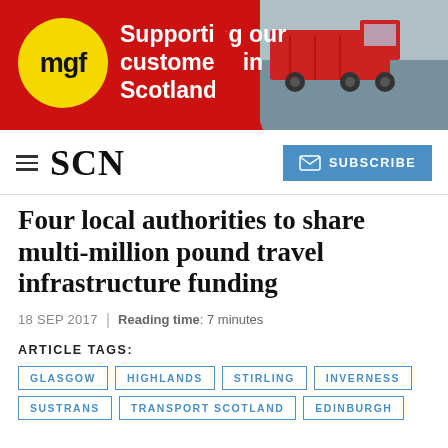[Figure (photo): MGF advertisement banner with red background, yellow circle MGF logo, white bold text 'Supporting our customers in Scotland', and a red truck on the right side]
SCN | SUBSCRIBE
Four local authorities to share multi-million pound travel infrastructure funding
18 SEP 2017 | Reading time: 7 minutes
ARTICLE TAGS:
GLASGOW
HIGHLANDS
STIRLING
INVERNESS
SUSTRANS
TRANSPORT SCOTLAND
EDINBURGH